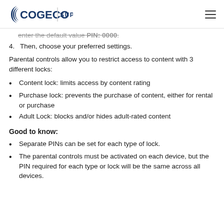Cogeco Support
enter the default value PIN: 0000.
4. Then, choose your preferred settings.
Parental controls allow you to restrict access to content with 3 different locks:
Content lock: limits access by content rating
Purchase lock: prevents the purchase of content, either for rental or purchase
Adult Lock: blocks and/or hides adult-rated content
Good to know:
Separate PINs can be set for each type of lock.
The parental controls must be activated on each device, but the PIN required for each type or lock will be the same across all devices.